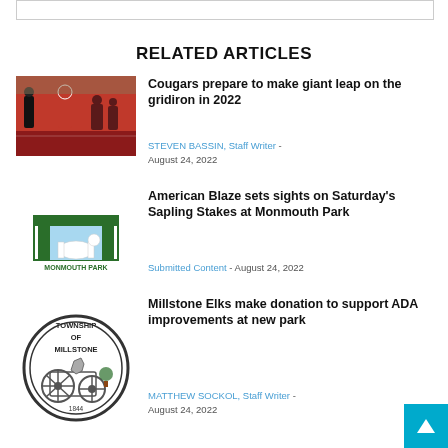RELATED ARTICLES
[Figure (photo): Football players on a field, referee visible, player in red uniform]
Cougars prepare to make giant leap on the gridiron in 2022
STEVEN BASSIN, Staff Writer - August 24, 2022
[Figure (logo): Monmouth Park logo with green building/arch and horse silhouette]
American Blaze sets sights on Saturday's Sapling Stakes at Monmouth Park
Submitted Content - August 24, 2022
[Figure (logo): Township of Millstone circular seal/logo with wagon and state outline]
Millstone Elks make donation to support ADA improvements at new park
MATTHEW SOCKOL, Staff Writer - August 24, 2022